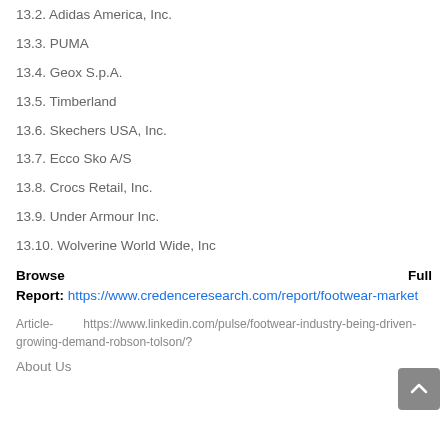13.2. Adidas America, Inc.
13.3. PUMA
13.4. Geox S.p.A.
13.5. Timberland
13.6. Skechers USA, Inc.
13.7. Ecco Sko A/S
13.8. Crocs Retail, Inc.
13.9. Under Armour Inc.
13.10. Wolverine World Wide, Inc
Browse Full Report: https://www.credenceresearch.com/report/footwear-market
Article- https://www.linkedin.com/pulse/footwear-industry-being-driven-growing-demand-robson-tolson/?
About Us